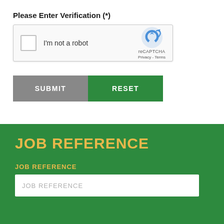Please Enter Verification (*)
[Figure (screenshot): reCAPTCHA widget with checkbox labeled 'I'm not a robot' and reCAPTCHA logo on right with Privacy and Terms links]
SUBMIT
RESET
JOB REFERENCE
JOB REFERENCE
JOB REFERENCE